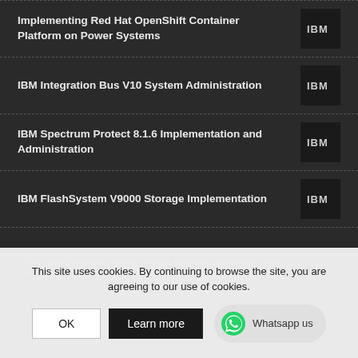Implementing Red Hat OpenShift Container Platform on Power Systems
IBM Integration Bus V10 System Administration
IBM Spectrum Protect 8.1.6 Implementation and Administration
IBM FlashSystem V9000 Storage Implementation
© 2022 - SiXe Engineering | Training, consulting, professional services and turnkey ... GATE, Rapid7, Vee... Company registered in INCIBE ... catalog...
This site uses cookies. By continuing to browse the site, you are agreeing to our use of cookies.